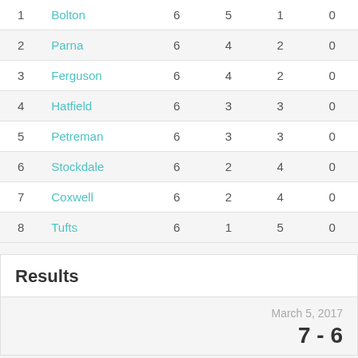| # | Name | GP | W | L | OTL |
| --- | --- | --- | --- | --- | --- |
| 1 | Bolton | 6 | 5 | 1 | 0 |
| 2 | Parna | 6 | 4 | 2 | 0 |
| 3 | Ferguson | 6 | 4 | 2 | 0 |
| 4 | Hatfield | 6 | 3 | 3 | 0 |
| 5 | Petreman | 6 | 3 | 3 | 0 |
| 6 | Stockdale | 6 | 2 | 4 | 0 |
| 7 | Coxwell | 6 | 2 | 4 | 0 |
| 8 | Tufts | 6 | 1 | 5 | 0 |
Results
March 5, 2017
7 - 6